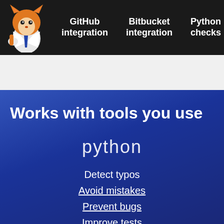[Figure (logo): Orange fox mascot logo in top-left corner of navigation bar]
GitHub integration  Bitbucket integration  Python checks  De...
Works with tools you use
[Figure (logo): Python logo text in white on blue background]
Detect typos
Avoid mistakes
Prevent bugs
Improve tests